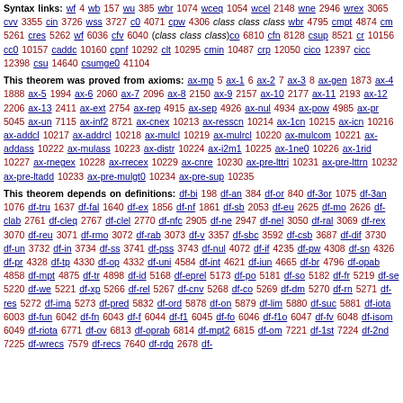Syntax links: wf 4 wb 157 wu 385 wbr 1074 wceq 1054 wcel 2148 wne 2946 wrex 3065 cvv 3355 cin 3726 wss 3727 c0 4071 cpw 4306 class class class wbr 4795 cmpt 4874 cm 5261 cres 5262 wf 6036 cfv 6040 (class class class)co 6810 cfn 8128 csup 8521 cr 10156 cc0 10157 caddc 10160 cpnf 10292 clt 10295 cmin 10487 crp 12050 cico 12397 cicc 12398 csu 14640 csumge0 41104
This theorem was proved from axioms: ax-mp 5 ax-1 6 ax-2 7 ax-3 8 ax-gen 1873 ax-4 1888 ax-5 1994 ax-6 2060 ax-7 2096 ax-8 2150 ax-9 2157 ax-10 2177 ax-11 2193 ax-12 2206 ax-13 2411 ax-ext 2754 ax-rep 4915 ax-sep 4926 ax-nul 4934 ax-pow 4985 ax-pr 5045 ax-un 7115 ax-inf2 8721 ax-cnex 10213 ax-resscn 10214 ax-1cn 10215 ax-icn 10216 ax-addcl 10217 ax-addrcl 10218 ax-mulcl 10219 ax-mulrcl 10220 ax-mulcom 10221 ax-addass 10222 ax-mulass 10223 ax-distr 10224 ax-i2m1 10225 ax-1ne0 10226 ax-1rid 10227 ax-rnegex 10228 ax-rrecex 10229 ax-cnre 10230 ax-pre-lttri 10231 ax-pre-lttrn 10232 ax-pre-ltadd 10233 ax-pre-mulgt0 10234 ax-pre-sup 10235
This theorem depends on definitions: df-bi 198 df-an 384 df-or 840 df-3or 1075 df-3an 1076 df-tru 1637 df-fal 1640 df-ex 1856 df-nf 1861 df-sb 2053 df-eu 2625 df-mo 2626 df-clab 2761 df-cleq 2767 df-clel 2770 df-nfc 2905 df-ne 2947 df-nel 3050 df-ral 3069 df-rex 3070 df-reu 3071 df-rmo 3072 df-rab 3073 df-v 3357 df-sbc 3592 df-csb 3687 df-dif 3730 df-un 3732 df-in 3734 df-ss 3741 df-pss 3743 df-nul 4072 df-if 4235 df-pw 4308 df-sn 4326 df-pr 4328 df-tp 4330 df-op 4332 df-uni 4584 df-int 4621 df-iun 4665 df-br 4796 df-opab 4858 df-mpt 4875 df-tr 4898 df-id 5168 df-eprel 5173 df-po 5181 df-so 5182 df-fr 5219 df-se 5220 df-we 5221 df-xp 5266 df-rel 5267 df-cnv 5268 df-co 5269 df-dm 5270 df-rn 5271 df-res 5272 df-ima 5273 df-pred 5832 df-ord 5878 df-on 5879 df-lim 5880 df-suc 5881 df-iota 6003 df-fun 6042 df-fn 6043 df-f 6044 df-f1 6045 df-fo 6046 df-f1o 6047 df-fv 6048 df-isom 6049 df-riota 6771 df-ov 6813 df-oprab 6814 df-mpt2 6815 df-om 7221 df-1st 7224 df-2nd 7225 df-wrecs 7579 df-recs 7640 df-rdg 2678 df-...